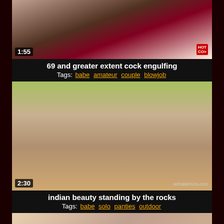[Figure (photo): Video thumbnail showing a person on a red and white patterned fabric, duration badge showing 1:55, watermark in bottom right]
69 and greater extent cock engulfing
Tags: babe, amateur, couple, blowjob
[Figure (photo): Video thumbnail showing legs standing on rocky ground with green fabric, duration badge showing 2:30, watermark showing ashakamura.com]
indian beauty standing by the rocks
Tags: babe, solo, panties, outdoor
[Figure (photo): Video thumbnail showing a partial view of a person, third video in listing]